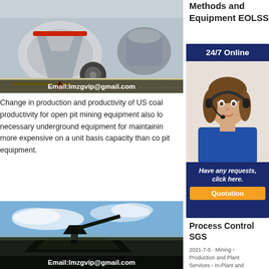[Figure (photo): Industrial heavy machinery in a factory setting, cone crushers/processing equipment, with 'Email:lmzgvip@gmail.com' overlay at bottom]
Change in production and productivity of US coal productivity for open pit mining equipment also lo necessary underground equipment for maintaining more expensive on a unit basis capacity than cor pit equipment.
[Figure (photo): Mining operation under open sky with dark coal material and heavy equipment silhouette, with 'Email:lmzgvip@gmail.com' overlay at bottom]
Methods and Equipment EOLSS
2020-8-25
©En Sup (EO
[Figure (photo): 24/7 Online chat widget with agent photo and 'Have any requests, click here.' and Quotation button]
Process Control SGS
2021-7-5 · Mining › Production and Plant Services › In-Plant and Operational Support ›